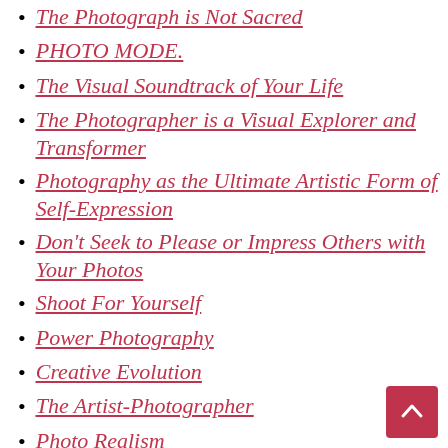The Photograph is Not Sacred
PHOTO MODE.
The Visual Soundtrack of Your Life
The Photographer is a Visual Explorer and Transformer
Photography as the Ultimate Artistic Form of Self-Expression
Don't Seek to Please or Impress Others with Your Photos
Shoot For Yourself
Power Photography
Creative Evolution
The Artist-Photographer
Photo Realism
Perpetual Photography
All Photography is Good Photography
Optimal Simplicity